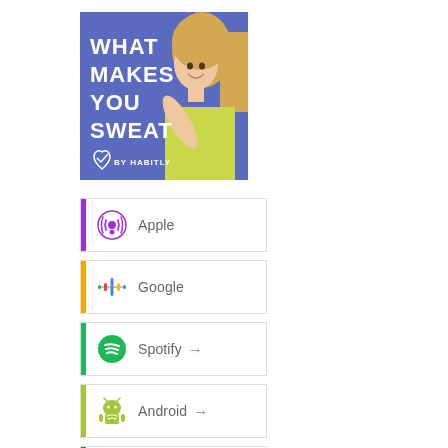[Figure (illustration): Podcast cover art for 'What Makes You Sweat by Habitly' — blue/purple background with large white bold text and a smiling blonde woman in a yellow-green top, with a heart-checkmark logo and 'BY HABITLY' text at bottom left]
Apple
Google
Spotify →
Android →
by Email →